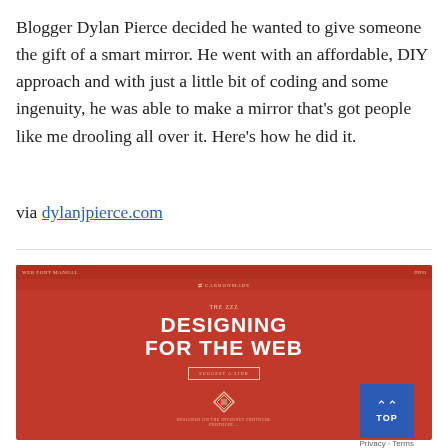Blogger Dylan Pierce decided he wanted to give someone the gift of a smart mirror. He went with an affordable, DIY approach and with just a little bit of coding and some ingenuity, he was able to make a mirror that's got people like me drooling all over it. Here's how he did it.
via dylanjpierce.com
[Figure (screenshot): Screenshot of a website with red background showing 'DESIGNING FOR THE WEB' in large white bold text, with navigation bar, a 'SUGGEST A LINK' button, and a diamond logo at the bottom.]